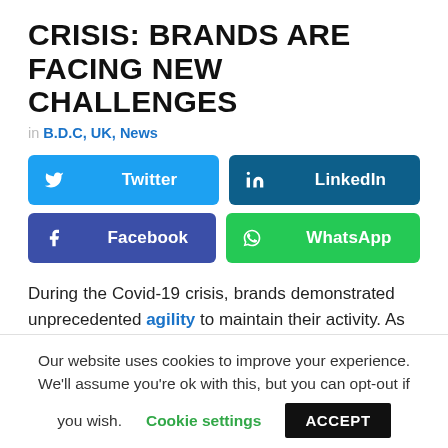CRISIS: BRANDS ARE FACING NEW CHALLENGES
in B.D.C, UK, News
[Figure (infographic): Social media share buttons: Twitter (blue), LinkedIn (dark teal), Facebook (dark blue), WhatsApp (green)]
During the Covid-19 crisis, brands demonstrated unprecedented agility to maintain their activity. As
Our website uses cookies to improve your experience. We'll assume you're ok with this, but you can opt-out if you wish. Cookie settings ACCEPT